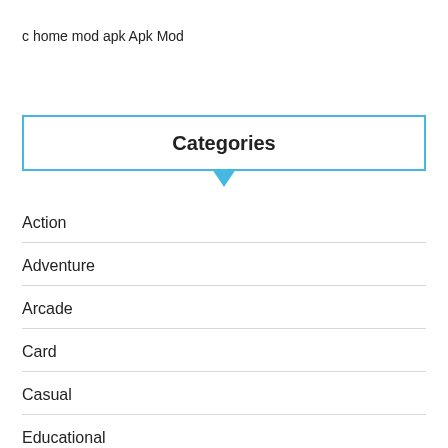c home mod apk Apk Mod
[Figure (screenshot): Dropdown selector showing 'Categories' label with blue border and downward pointing arrow]
Action
Adventure
Arcade
Card
Casual
Educational